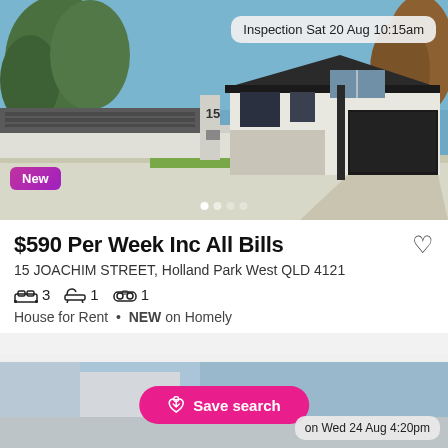[Figure (photo): Exterior photo of a single-story house at 15 Joachim Street with dark fence, white walls, and garage. Blue sky background.]
Inspection Sat 20 Aug 10:15am
New
$590 Per Week Inc All Bills
15 JOACHIM STREET, Holland Park West QLD 4121
3  1  1
House for Rent • NEW on Homely
[Figure (photo): Partial exterior photo of a second property listing, partially obscured by Save search button.]
Save search
on Wed 24 Aug 4:20pm